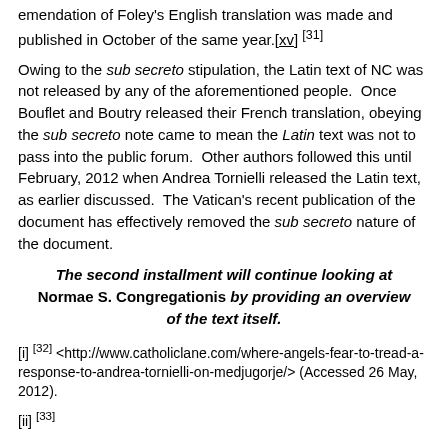emendation of Foley's English translation was made and published in October of the same year.[xv] [31]
Owing to the sub secreto stipulation, the Latin text of NC was not released by any of the aforementioned people. Once Bouflet and Boutry released their French translation, obeying the sub secreto note came to mean the Latin text was not to pass into the public forum. Other authors followed this until February, 2012 when Andrea Tornielli released the Latin text, as earlier discussed. The Vatican's recent publication of the document has effectively removed the sub secreto nature of the document.
The second installment will continue looking at Normae S. Congregationis by providing an overview of the text itself.
[i] [32] <http://www.catholiclane.com/where-angels-fear-to-tread-a-response-to-andrea-tornielli-on-medjugorje/> (Accessed 26 May, 2012).
[ii] [33]